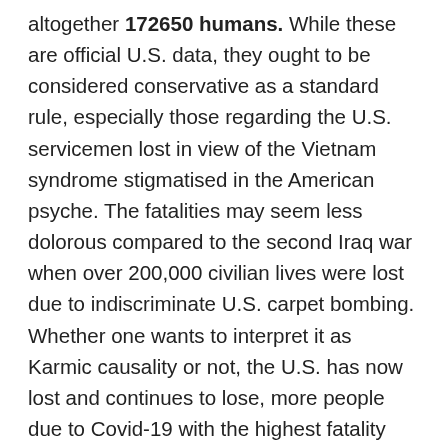altogether 172650 humans. While these are official U.S. data, they ought to be considered conservative as a standard rule, especially those regarding the U.S. servicemen lost in view of the Vietnam syndrome stigmatised in the American psyche. The fatalities may seem less dolorous compared to the second Iraq war when over 200,000 civilian lives were lost due to indiscriminate U.S. carpet bombing. Whether one wants to interpret it as Karmic causality or not, the U.S. has now lost and continues to lose, more people due to Covid-19 with the highest fatality figure of 622,000 humans than in any other nation on this planet, which is more than all the Americans killed in wars so far, including WW I & WWII. Was it all a reward to American brutality elsewhere, an American might be